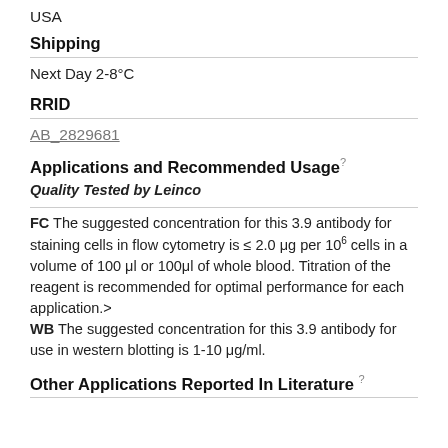USA
Shipping
Next Day 2-8°C
RRID
AB_2829681
Applications and Recommended Usage
Quality Tested by Leinco
FC The suggested concentration for this 3.9 antibody for staining cells in flow cytometry is ≤ 2.0 μg per 10⁶ cells in a volume of 100 μl or 100μl of whole blood. Titration of the reagent is recommended for optimal performance for each application.> WB The suggested concentration for this 3.9 antibody for use in western blotting is 1-10 μg/ml.
Other Applications Reported In Literature